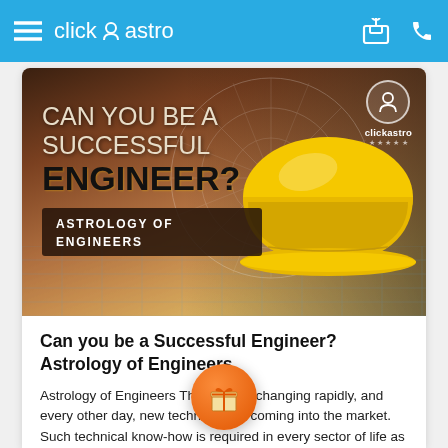click astro
[Figure (photo): Promotional banner image for clickastro article 'Can You Be A Successful Engineer? Astrology of Engineers' — dark background with zodiac wheel, a yellow hard hat on blueprint plans, and the clickastro logo in the top right.]
Can you be a Successful Engineer? Astrology of Engineers
Astrology of Engineers  The world is changing rapidly, and every other day, new technology is coming into the market. Such technical know-how is required in every sector of life as people want to save time, money, and energy. Among this